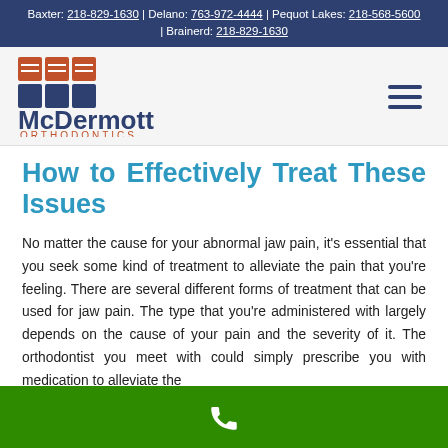Baxter: 218-829-1630 | Delano: 763-972-4444 | Pequot Lakes: 218-568-5600 | Brainerd: 218-829-1630
[Figure (logo): McDermott Orthodontics logo with colorful square icon and text]
How to Effectively Treat These Issues
No matter the cause for your abnormal jaw pain, it's essential that you seek some kind of treatment to alleviate the pain that you're feeling. There are several different forms of treatment that can be used for jaw pain. The type that you're administered with largely depends on the cause of your pain and the severity of it. The orthodontist you meet with could simply prescribe you with medication to alleviate the